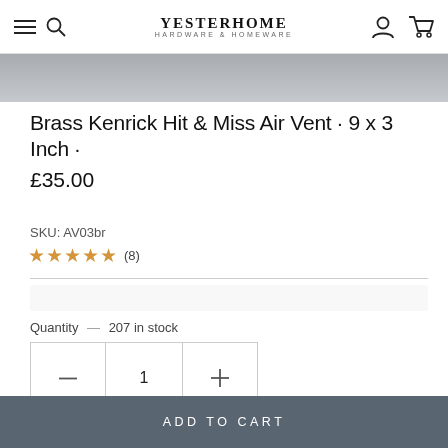YESTERHOME HARDWARE & HOMEWARE
[Figure (photo): Gray product image strip at top of page]
Brass Kenrick Hit & Miss Air Vent · 9 x 3 Inch ·
£35.00
SKU: AV03br
★★★★★ (8)
Quantity — 207 in stock
1
ADD TO CART